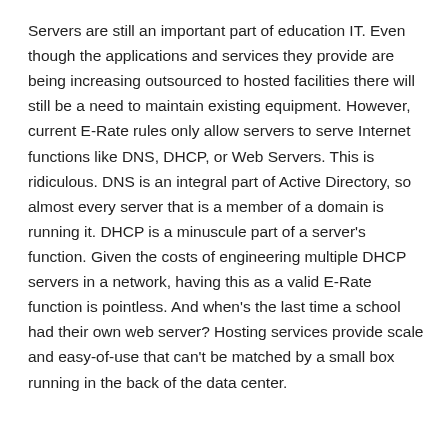Servers are still an important part of education IT. Even though the applications and services they provide are being increasing outsourced to hosted facilities there will still be a need to maintain existing equipment. However, current E-Rate rules only allow servers to serve Internet functions like DNS, DHCP, or Web Servers. This is ridiculous. DNS is an integral part of Active Directory, so almost every server that is a member of a domain is running it. DHCP is a minuscule part of a server's function. Given the costs of engineering multiple DHCP servers in a network, having this as a valid E-Rate function is pointless. And when's the last time a school had their own web server? Hosting services provide scale and easy-of-use that can't be matched by a small box running in the back of the data center.